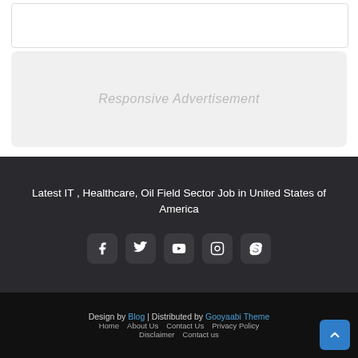[Figure (other): White box placeholder at top]
[Figure (other): Responsive Advertisement placeholder box]
Latest IT , Healthcare, Oil Field Sector Job in United States of America
[Figure (other): Social media icons: Facebook, Twitter, YouTube, Instagram, Skype]
Design by Blog | Distributed by Gooyaabi Theme
Home   About Us   Contact Us   Privacy Policy
Disclaimer   Contact us